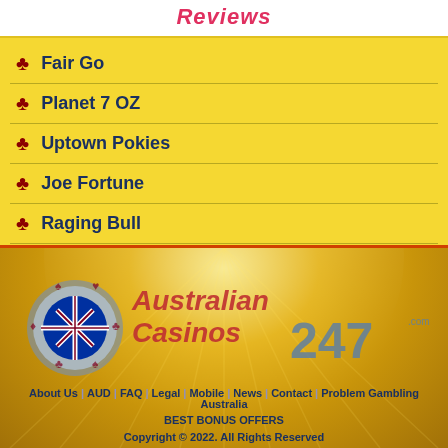Reviews
Fair Go
Planet 7 OZ
Uptown Pokies
Joe Fortune
Raging Bull
[Figure (logo): AustralianCasinos247.com logo with a coin/gear icon featuring the Australian flag]
About Us | AUD | FAQ | Legal | Mobile | News | Contact | Problem Gambling
Australia
BEST BONUS OFFERS
Copyright © 2022. All Rights Reserved